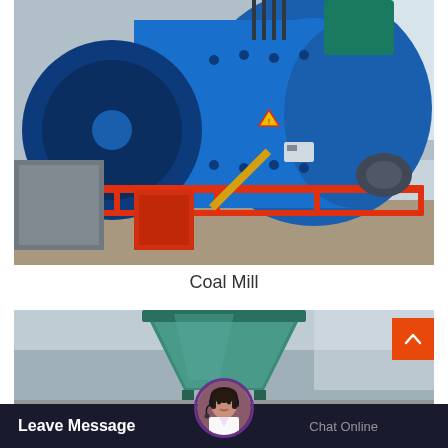[Figure (photo): Industrial ball mill (coal mill) — large blue cylindrical grinding machine with red safety barriers, motor, and industrial building background]
Coal Mill
[Figure (photo): Industrial hopper or feeder equipment — teal/green metal hopper visible with blurred industrial background]
Leave Message
Chat Online